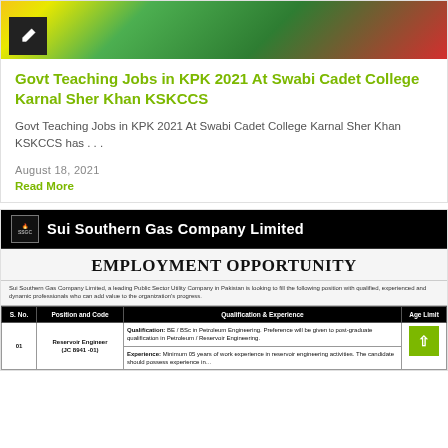[Figure (photo): Top portion of a card showing a colorful image (green, yellow, red cadet college logo) with a black pencil/edit icon overlay in the top-left corner]
Govt Teaching Jobs in KPK 2021 At Swabi Cadet College Karnal Sher Khan KSKCCS
Govt Teaching Jobs in KPK 2021 At Swabi Cadet College Karnal Sher Khan KSKCCS has . . .
August 18, 2021
Read More
[Figure (photo): Job advertisement image for Sui Southern Gas Company Limited showing Employment Opportunity header, company intro text, and a table with columns S.No., Position and Code, Qualification & Experience, Age Limit. Row 01 shows Reservoir Engineer (JC 8941-01) with qualification BE/BSc in Petroleum Engineering and experience: Minimum 05 years, age limit 44 years.]